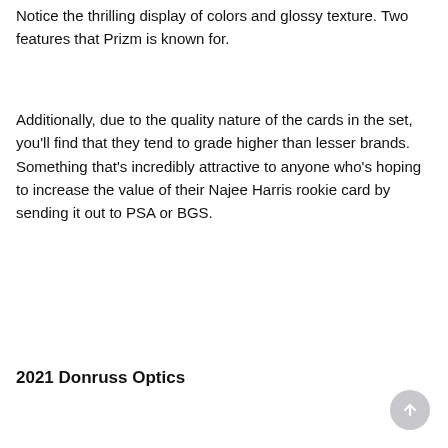Notice the thrilling display of colors and glossy texture. Two features that Prizm is known for.
Additionally, due to the quality nature of the cards in the set, you'll find that they tend to grade higher than lesser brands. Something that's incredibly attractive to anyone who's hoping to increase the value of their Najee Harris rookie card by sending it out to PSA or BGS.
2021 Donruss Optics